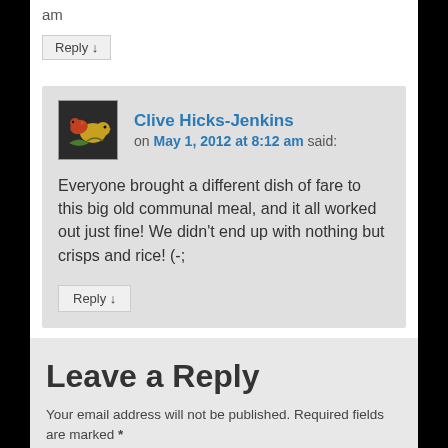am
Reply ↓
Clive Hicks-Jenkins on May 1, 2012 at 8:12 am said:
Everyone brought a different dish of fare to this big old communal meal, and it all worked out just fine! We didn't end up with nothing but crisps and rice! (-;
Reply ↓
Leave a Reply
Your email address will not be published. Required fields are marked *